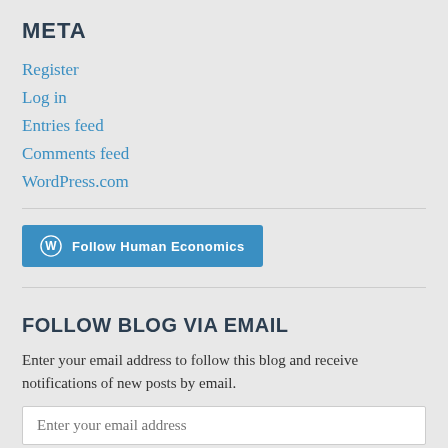META
Register
Log in
Entries feed
Comments feed
WordPress.com
[Figure (other): WordPress Follow button labeled 'Follow Human Economics']
FOLLOW BLOG VIA EMAIL
Enter your email address to follow this blog and receive notifications of new posts by email.
Enter your email address
Follow
Join 234 other followers